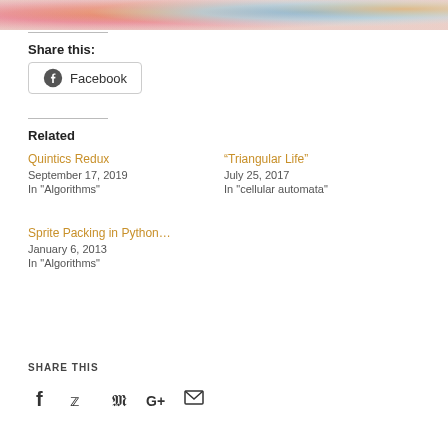[Figure (photo): Colorful tie-dye banner image with pink, red, orange, and blue colors]
Share this:
[Figure (screenshot): Facebook share button with Facebook logo icon]
Related
Quintics Redux
September 17, 2019
In "Algorithms"
“Triangular Life”
July 25, 2017
In "cellular automata"
Sprite Packing in Python…
January 6, 2013
In "Algorithms"
SHARE THIS
[Figure (infographic): Social sharing icons: Facebook, Twitter, Pinterest, Google+, Email]